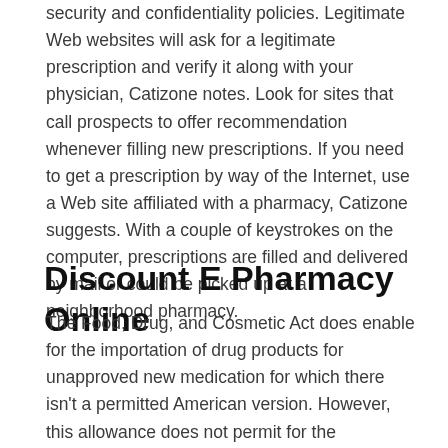security and confidentiality policies. Legitimate Web websites will ask for a legitimate prescription and verify it along with your physician, Catizone notes. Look for sites that call prospects to offer recommendation whenever filling new prescriptions. If you need to get a prescription by way of the Internet, use a Web site affiliated with a pharmacy, Catizone suggests. With a couple of keystrokes on the computer, prescriptions are filled and delivered by mail or could be picked up at a neighborhood pharmacy.
Discount E Pharmacy Online
The Food, Drug, and Cosmetic Act does enable for the importation of drug products for unapproved new medication for which there isn't a permitted American version. However, this allowance does not permit for the importation of overseas-made variations of U.S. permitted medication. Illegal or unethical pharmacies generally ship outdated, substituted, or counterfeit